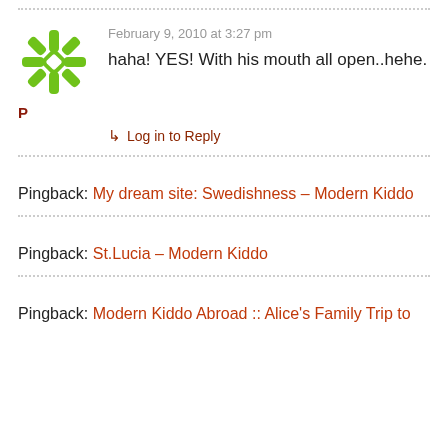[Figure (illustration): Green snowflake/star avatar icon]
February 9, 2010 at 3:27 pm
haha! YES! With his mouth all open..hehe.
P
↳ Log in to Reply
Pingback: My dream site: Swedishness – Modern Kiddo
Pingback: St.Lucia – Modern Kiddo
Pingback: Modern Kiddo Abroad :: Alice's Family Trip to